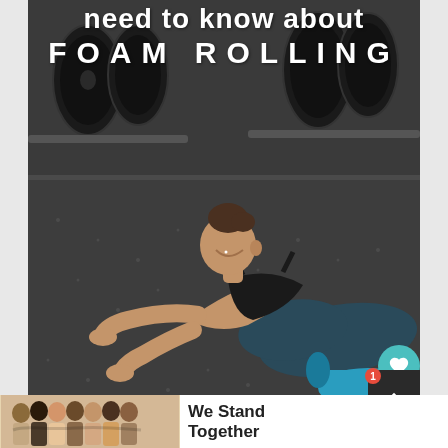[Figure (photo): A woman in black athletic wear lying on a gym floor smiling, with weight plates visible in background and a blue foam roller partially visible at bottom right. Text overlay reads 'need to know about FOAM ROLLING' in white bold letters.]
need to know about FOAM ROLLING
[Figure (infographic): Advertisement banner showing a group of people with arms around each other from behind, with text 'We Stand Together' and close/dismiss buttons.]